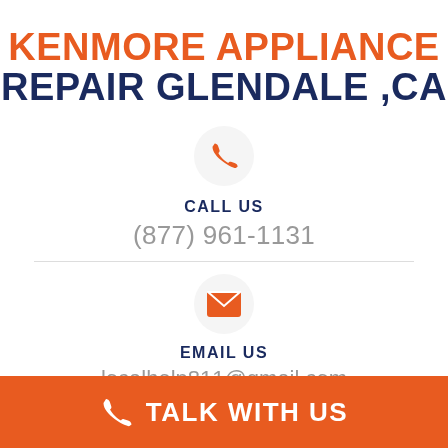KENMORE APPLIANCE REPAIR GLENDALE ,CA
[Figure (illustration): Orange phone handset icon inside a light gray circle]
CALL US
(877) 961-1131
[Figure (illustration): Orange email envelope icon inside a light gray circle]
EMAIL US
localhelp811@gmail.com
[Figure (illustration): Orange location pin icon partially visible]
TALK WITH US